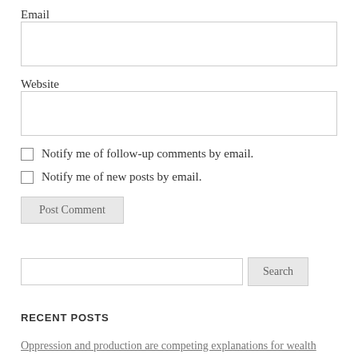Email
Website
Notify me of follow-up comments by email.
Notify me of new posts by email.
Post Comment
Search
RECENT POSTS
Oppression and production are competing explanations for wealth